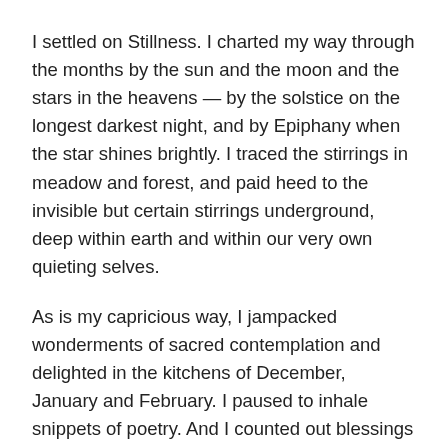I settled on Stillness. I charted my way through the months by the sun and the moon and the stars in the heavens — by the solstice on the longest darkest night, and by Epiphany when the star shines brightly. I traced the stirrings in meadow and forest, and paid heed to the invisible but certain stirrings underground, deep within earth and within our very own quieting selves.
As is my capricious way, I jampacked wonderments of sacred contemplation and delighted in the kitchens of December, January and February. I paused to inhale snippets of poetry. And I counted out blessings for week after week, a calendar of meditative post-its, for each winter's month.
The point is perhaps countercultural. It is, in my book,